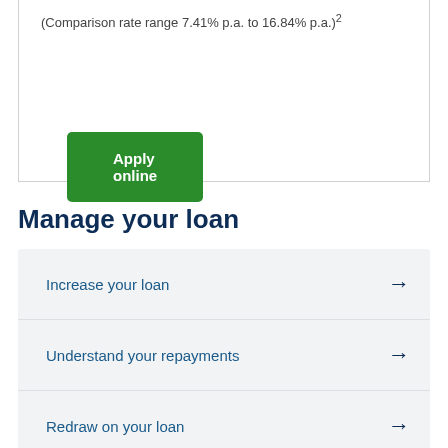(Comparison rate range 7.41% p.a. to 16.84% p.a.)²
Apply online
Manage your loan
Increase your loan →
Understand your repayments →
Redraw on your loan →